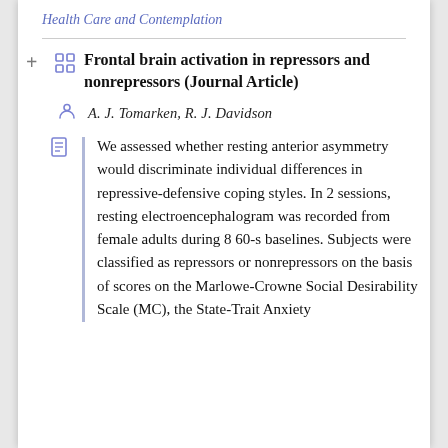Health Care and Contemplation
Frontal brain activation in repressors and nonrepressors (Journal Article)
A. J. Tomarken,  R. J. Davidson
We assessed whether resting anterior asymmetry would discriminate individual differences in repressive-defensive coping styles. In 2 sessions, resting electroencephalogram was recorded from female adults during 8 60-s baselines. Subjects were classified as repressors or nonrepressors on the basis of scores on the Marlowe-Crowne Social Desirability Scale (MC), the State-Trait Anxiety